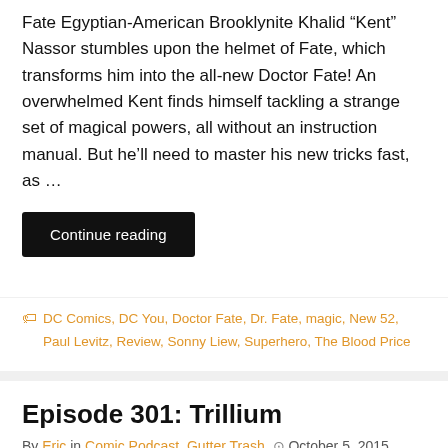Fate Egyptian-American Brooklynite Khalid “Kent” Nassor stumbles upon the helmet of Fate, which transforms him into the all-new Doctor Fate! An overwhelmed Kent finds himself tackling a strange set of magical powers, all without an instruction manual. But he’ll need to master his new tricks fast, as …
Continue reading
DC Comics, DC You, Doctor Fate, Dr. Fate, magic, New 52, Paul Levitz, Review, Sonny Liew, Superhero, The Blood Price
Episode 301: Trillium
By Eric in Comic Podcast, Gutter Trash ⊙ October 5, 2015
[Figure (photo): Partial view of a colorful comic book or graphic image strip in teal and dark tones, with a scroll-to-top button (dark square with white arrow) in the bottom-right corner.]